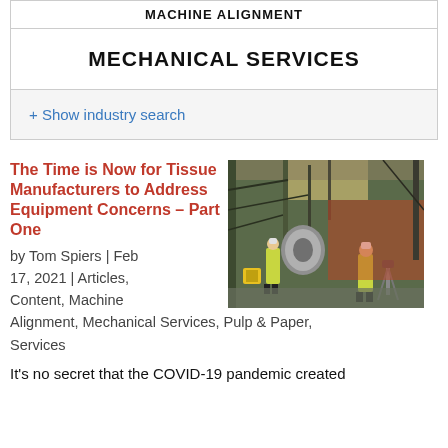MACHINE ALIGNMENT
MECHANICAL SERVICES
+ Show industry search
The Time is Now for Tissue Manufacturers to Address Equipment Concerns – Part One
by Tom Spiers | Feb 17, 2021 | Articles, Content, Machine Alignment, Mechanical Services, Pulp & Paper, Services
[Figure (photo): Workers in yellow high-visibility jackets and hard hats working on large industrial machinery inside a factory/mill building]
It's no secret that the COVID-19 pandemic created